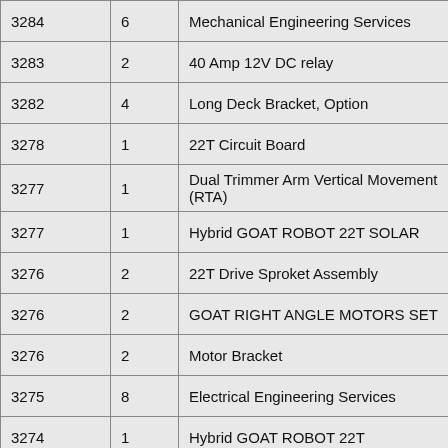| 3284 | 6 | Mechanical Engineering Services |
| 3283 | 2 | 40 Amp 12V DC relay |
| 3282 | 4 | Long Deck Bracket, Option |
| 3278 | 1 | 22T Circuit Board |
| 3277 | 1 | Dual Trimmer Arm Vertical Movement (RTA) |
| 3277 | 1 | Hybrid GOAT ROBOT 22T SOLAR |
| 3276 | 2 | 22T Drive Sproket Assembly |
| 3276 | 2 | GOAT RIGHT ANGLE MOTORS SET |
| 3276 | 2 | Motor Bracket |
| 3275 | 8 | Electrical Engineering Services |
| 3274 | 1 | Hybrid GOAT ROBOT 22T |
| 3273 | 1 | Hybrid GOAT ROBOT 22T |
| 3272 | 2 | 22T Sprocket Assembly |
| 3272 | 2 | 22T Front Wheel Assembly |
| 3270 | 4 | Long Deck Bracket, Option |